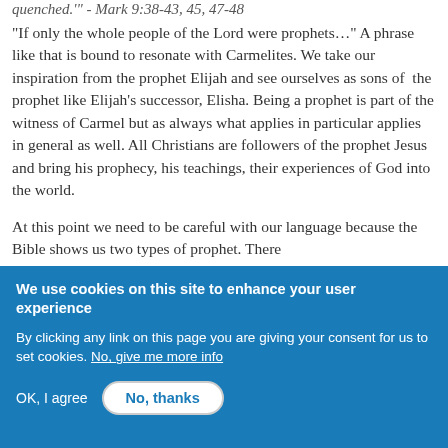quenched.'" - Mark 9:38-43, 45, 47-48
“If only the whole people of the Lord were prophets…” A phrase like that is bound to resonate with Carmelites. We take our inspiration from the prophet Elijah and see ourselves as sons of the prophet like Elijah’s successor, Elisha. Being a prophet is part of the witness of Carmel but as always what applies in particular applies in general as well. All Christians are followers of the prophet Jesus and bring his prophecy, his teachings, their experiences of God into the world.
At this point we need to be careful with our language because the Bible shows us two types of prophet. There
We use cookies on this site to enhance your user experience
By clicking any link on this page you are giving your consent for us to set cookies. No, give me more info
OK, I agree
No, thanks